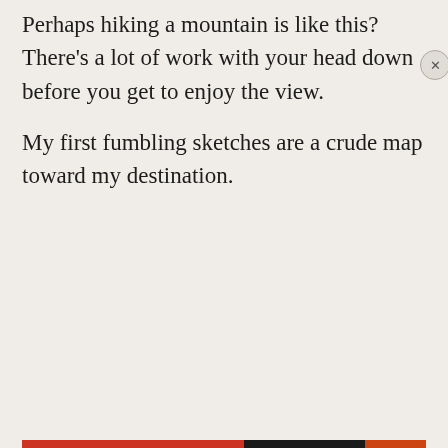Perhaps hiking a mountain is like this? There’s a lot of work with your head down before you get to enjoy the view.
My first fumbling sketches are a crude map toward my destination.
Privacy & Cookies: This site uses cookies. By continuing to use this website, you agree to their use. To find out more, including how to control cookies, see here: Cookie Policy
Close and accept